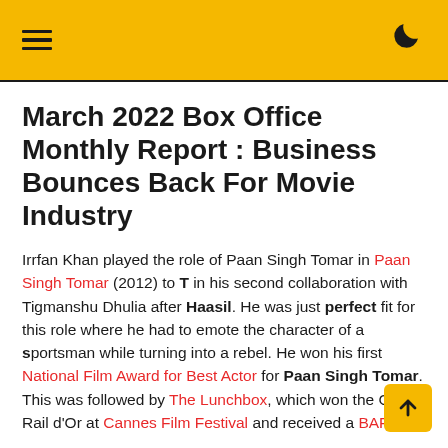≡  ☽
March 2022 Box Office Monthly Report : Business Bounces Back For Movie Industry
Irrfan Khan played the role of Paan Singh Tomar in Paan Singh Tomar (2012) to T in his second collaboration with Tigmanshu Dhulia after Haasil. He was just perfect fit for this role where he had to emote the character of a sportsman while turning into a rebel. He won his first National Film Award for Best Actor for Paan Singh Tomar. This was followed by The Lunchbox, which won the Grand Rail d'Or at Cannes Film Festival and received a BAFTA